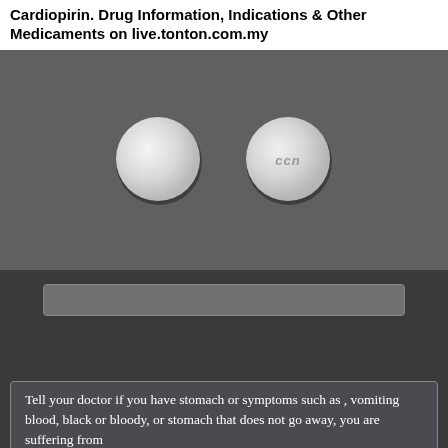Cardiopirin. Drug Information, Indications & Other Medicaments on live.tonton.com.my
[Figure (photo): Two round white tablets photographed on a dark grey background. The left tablet is plain white. The right tablet has text embossed on it reading 'ccn'.]
Tell your doctor if you have stomach or symptoms such as , vomiting blood, black or bloody, or stomach that does not go away, you are suffering from